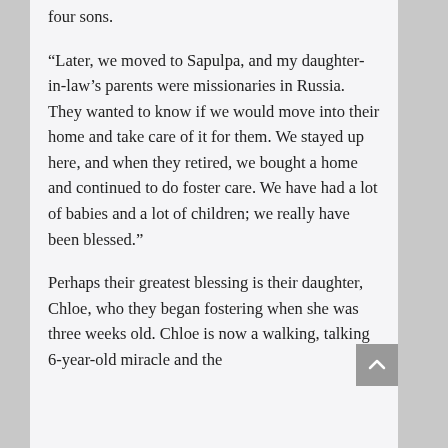four sons.
“Later, we moved to Sapulpa, and my daughter-in-law’s parents were missionaries in Russia. They wanted to know if we would move into their home and take care of it for them. We stayed up here, and when they retired, we bought a home and continued to do foster care. We have had a lot of babies and a lot of children; we really have been blessed.”
Perhaps their greatest blessing is their daughter, Chloe, who they began fostering when she was three weeks old. Chloe is now a walking, talking 6-year-old miracle and the